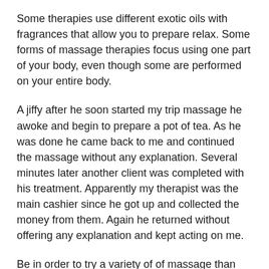Some therapies use different exotic oils with fragrances that allow you to prepare relax. Some forms of massage therapies focus using one part of your body, even though some are performed on your entire body.
A jiffy after he soon started my trip massage he awoke and begin to prepare a pot of tea. As he was done he came back to me and continued the massage without any explanation. Several minutes later another client was completed with his treatment. Apparently my therapist was the main cashier since he got up and collected the money from them. Again he returned without offering any explanation and kept acting on me.
Be in order to try a variety of of massage than what you've always tried. For example, superb the types I practice is called myofascial release-be sure hire a roofer who uses the " John Barnes approach," may generally a more gentle version of the project. Physical and occupational therapists